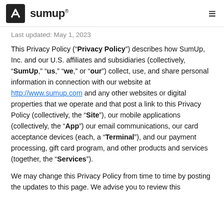sumup
Last updated: May 1, 2023
This Privacy Policy (“Privacy Policy”) describes how SumUp, Inc. and our U.S. affiliates and subsidiaries (collectively, “SumUp,” “us,” “we,” or “our”) collect, use, and share personal information in connection with our website at http://www.sumup.com and any other websites or digital properties that we operate and that post a link to this Privacy Policy (collectively, the “Site”), our mobile applications (collectively, the “App”) our email communications, our card acceptance devices (each, a “Terminal”), and our payment processing, gift card program, and other products and services (together, the “Services”).
We may change this Privacy Policy from time to time by posting the updates to this page. We advise you to review this...